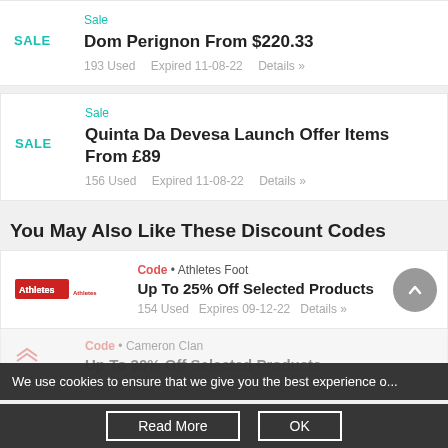Sale — Dom Perignon From $220.33 — 193 Used · Expired 11-08-22 · Details »
Sale — Quinta Da Devesa Launch Offer Items From £89 — 156 Used · Expired 11-08-22 · Details »
You May Also Like These Discount Codes
Code • Athletes Foot — Up To 25% Off Selected Products — 154 Used · Expires 09-12-22 · Details »
Code • Cameron Clan — Up To 30% Off Selected Products
We use cookies to ensure that we give you the best experience o...
Read More   OK